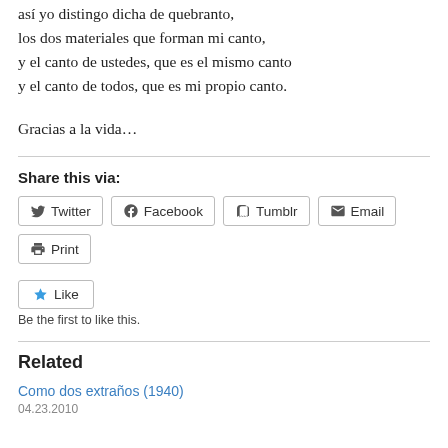así yo distingo dicha de quebranto,
los dos materiales que forman mi canto,
y el canto de ustedes, que es el mismo canto
y el canto de todos, que es mi propio canto.
Gracias a la vida…
Share this via:
Twitter  Facebook  Tumblr  Email  Print
Like
Be the first to like this.
Related
Como dos extraños (1940)
04.23.2010